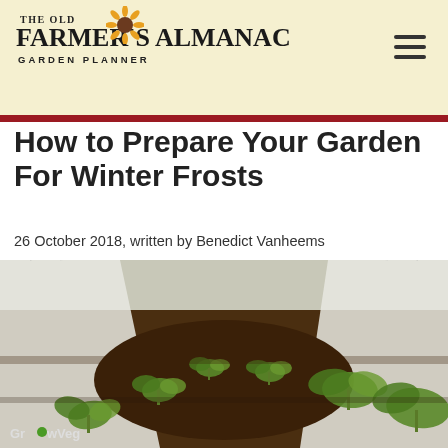THE OLD FARMER'S ALMANAC GARDEN PLANNER
How to Prepare Your Garden For Winter Frosts
26 October 2018, written by Benedict Vanheems
[Figure (photo): Young green seedlings growing in rows of dark soil inside a polytunnel or cold frame with white plastic sheeting arched overhead. GrowVeg watermark in bottom-left corner.]